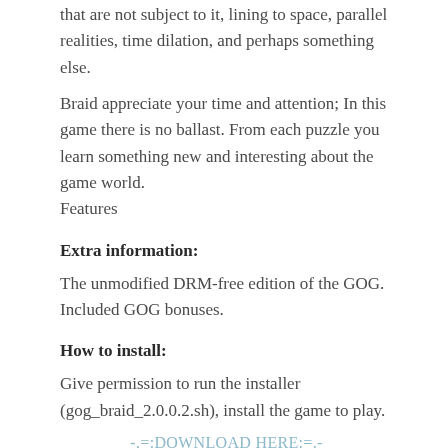that are not subject to it, lining to space, parallel realities, time dilation, and perhaps something else.
Braid appreciate your time and attention; In this game there is no ballast. From each puzzle you learn something new and interesting about the game world.
Features
Extra information:
The unmodified DRM-free edition of the GOG. Included GOG bonuses.
How to install:
Give permission to run the installer (gog_braid_2.0.0.2.sh), install the game to play.
-.=:DOWNLOAD HERE:=.-
[HOW TO DOWNLOAD]
Share this: